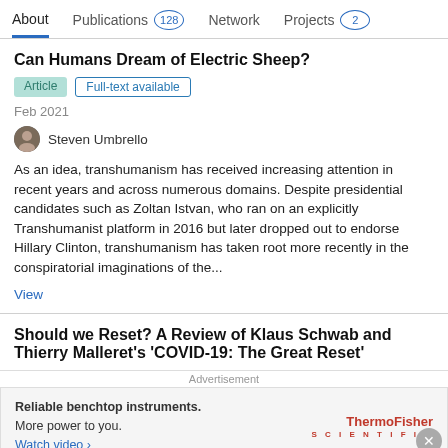About | Publications 128 | Network | Projects 2
Can Humans Dream of Electric Sheep?
Article | Full-text available
Feb 2021
Steven Umbrello
As an idea, transhumanism has received increasing attention in recent years and across numerous domains. Despite presidential candidates such as Zoltan Istvan, who ran on an explicitly Transhumanist platform in 2016 but later dropped out to endorse Hillary Clinton, transhumanism has taken root more recently in the conspiratorial imaginations of the...
View
Should we Reset? A Review of Klaus Schwab and Thierry Malleret's 'COVID-19: The Great Reset'
Advertisement
Reliable benchtop instruments.
More power to you.
Watch video ›